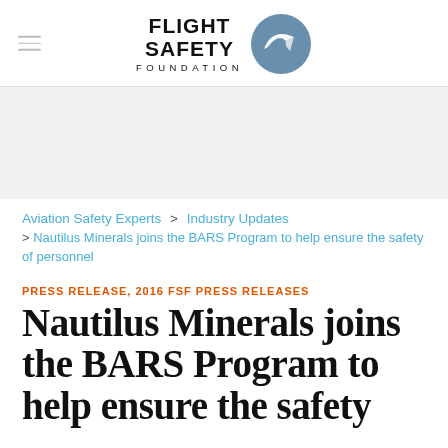FLIGHT SAFETY FOUNDATION
[Figure (logo): Flight Safety Foundation logo with circular emblem containing a wing/arrow on blue-gray background]
Aviation Safety Experts > Industry Updates > Nautilus Minerals joins the BARS Program to help ensure the safety of personnel
PRESS RELEASE, 2016 FSF PRESS RELEASES
Nautilus Minerals joins the BARS Program to help ensure the safety